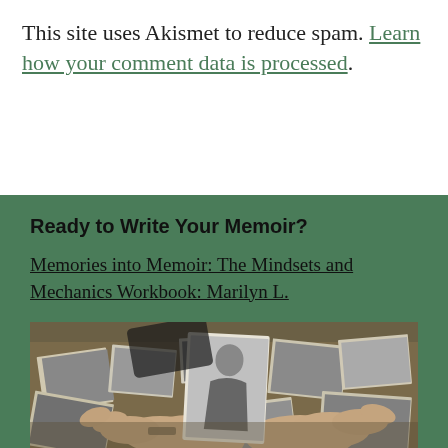This site uses Akismet to reduce spam. Learn how your comment data is processed.
Ready to Write Your Memoir?
Memories into Memoir: The Mindsets and Mechanics Workbook: Marilyn L.
[Figure (photo): Hands holding a black and white photograph of a woman, surrounded by a pile of scattered old black and white photographs on a table.]